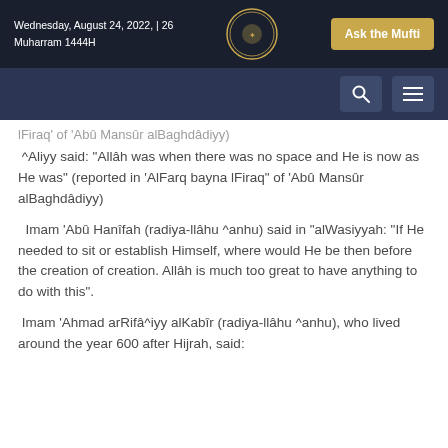Wednesday, August 24, 2022, | 26 Muharram 1444H
lFiraq' of 'Abû Mansûr alBaghdâdiyy)
^Aliyy said: "Allâh was when there was no space and He is now as He was" (reported in 'AlFarq bayna lFiraq" of 'Abû Mansûr alBaghdâdiyy)
Imam 'Abû Hanîfah (radiya-llâhu ^anhu) said in "alWasiyyah: "If He needed to sit or establish Himself, where would He be then before the creation of creation. Allâh is much too great to have anything to do with this".
Imam 'Ahmad arRifâ^iyy alKabîr (radiya-llâhu ^anhu), who lived around the year 600 after Hijrah, said: